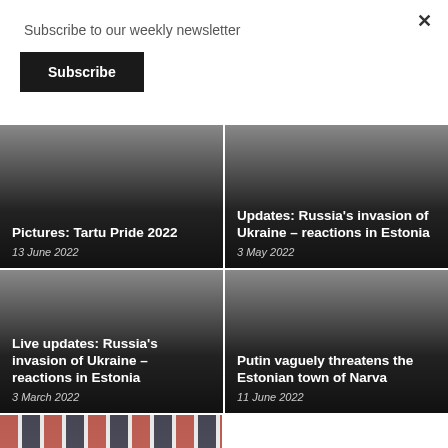Subscribe to our weekly newsletter
Subscribe
[Figure (screenshot): Close button (×) in top right corner]
Pictures: Tartu Pride 2022
13 June 2022
Updates: Russia's invasion of Ukraine – reactions in Estonia
3 May 2022
Live updates: Russia's invasion of Ukraine – reactions in Estonia
3 March 2022
Putin vaguely threatens the Estonian town of Narva
11 June 2022
[Figure (photo): Partial image visible at bottom of page, appears to show a flag or colorful banner]